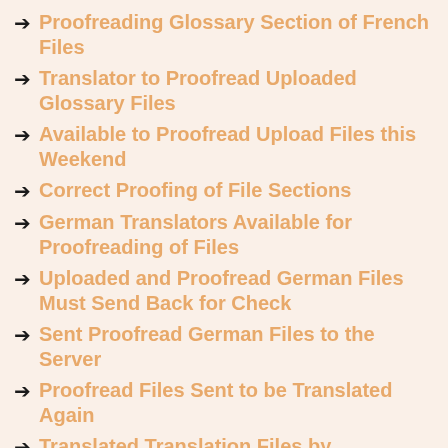Proofreading Glossary Section of French Files
Translator to Proofread Uploaded Glossary Files
Available to Proofread Upload Files this Weekend
Correct Proofing of File Sections
German Translators Available for Proofreading of Files
Uploaded and Proofread German Files Must Send Back for Check
Sent Proofread German Files to the Server
Proofread Files Sent to be Translated Again
Translated Translation Files by Translator had Mistakes
Proofreading Files from the Translated Glossary
Proofreading Translation Files of New...